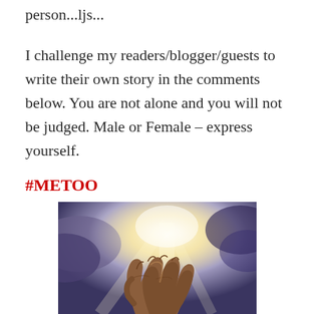person...ljs...
I challenge my readers/blogger/guests to write their own story in the comments below. You are not alone and you will not be judged. Male or Female – express yourself.
#METOO
[Figure (illustration): Illustration of praying hands clasped together with light rays emanating upward against a dramatic sky background]